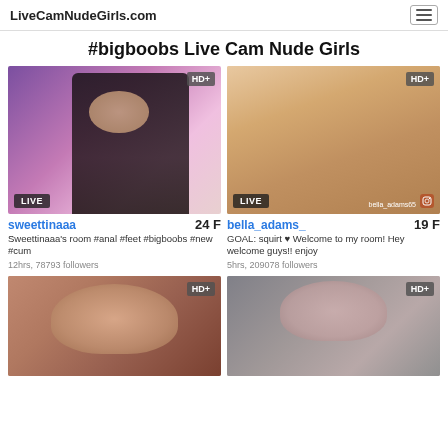LiveCamNudeGirls.com
#bigboobs Live Cam Nude Girls
[Figure (photo): Live cam thumbnail of sweettinaaa with HD+ badge and LIVE badge]
sweettinaaa  24 F
Sweettinaaa's room #anal #feet #bigboobs #new #cum
12hrs, 78793 followers
[Figure (photo): Live cam thumbnail of bella_adams_ with HD+ badge and LIVE badge]
bella_adams_  19 F
GOAL: squirt ♥ Welcome to my room! Hey welcome guys!! enjoy
5hrs, 209078 followers
[Figure (photo): Live cam thumbnail of third performer with HD+ badge]
[Figure (photo): Live cam thumbnail of fourth performer with HD+ badge]